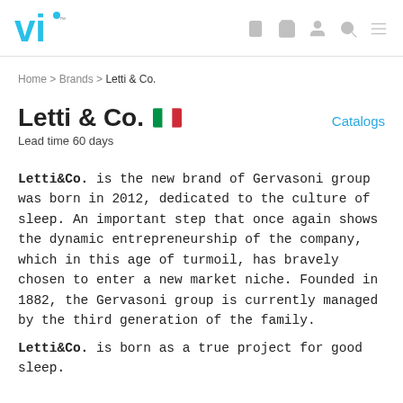vi [logo] | [wishlist icon] [cart icon] [account icon] [search icon] [menu icon]
Home > Brands > Letti & Co.
Letti & Co. 🇮🇹
Lead time 60 days
Catalogs
Letti&Co. is the new brand of Gervasoni group was born in 2012, dedicated to the culture of sleep. An important step that once again shows the dynamic entrepreneurship of the company, which in this age of turmoil, has bravely chosen to enter a new market niche. Founded in 1882, the Gervasoni group is currently managed by the third generation of the family.
Letti&Co. is born as a true project for good sleep.